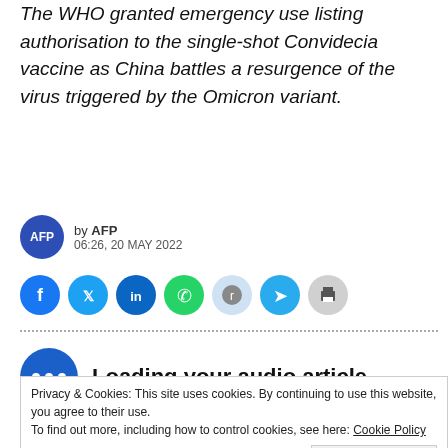The WHO granted emergency use listing authorisation to the single-shot Convidecia vaccine as China battles a resurgence of the virus triggered by the Omicron variant.
by AFP
06:26, 20 MAY 2022
[Figure (infographic): Social share buttons: Facebook, Twitter, LinkedIn, WhatsApp, Reddit, Telegram, Print]
[Figure (infographic): Loading your audio article with audio player icon (three dots on blue circle)]
Privacy & Cookies: This site uses cookies. By continuing to use this website, you agree to their use.
To find out more, including how to control cookies, see here: Cookie Policy
The WHO gra...